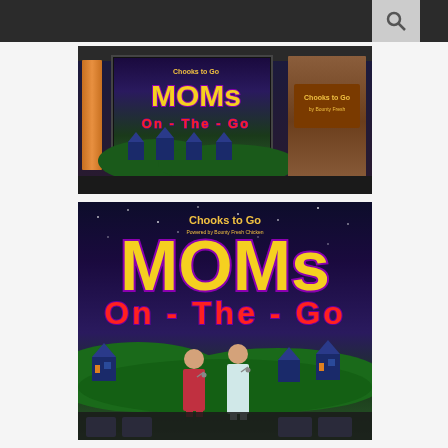[Figure (photo): Indoor venue photo showing a projection screen displaying the 'MOMs On The Go' logo by Chooks to Go, with a wooden branded panel on the right side and an orange/wood pillar on the left]
[Figure (photo): Stage photo showing the 'MOMs On The Go' event by Chooks to Go, with two female presenters standing on stage — one in a red dress and one in a white dress — in front of a large backdrop with the event logo against a dark starry background with green hills and cartoon houses]